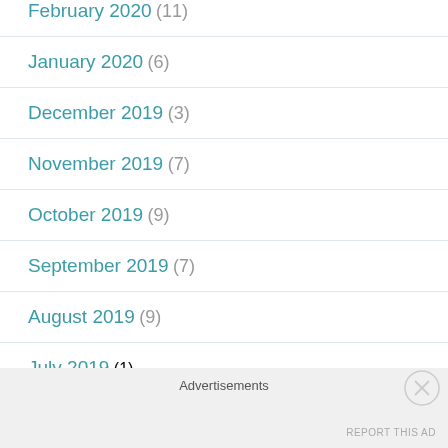February 2020 (11)
January 2020 (6)
December 2019 (3)
November 2019 (7)
October 2019 (9)
September 2019 (7)
August 2019 (9)
July 2019 (1)
Advertisements